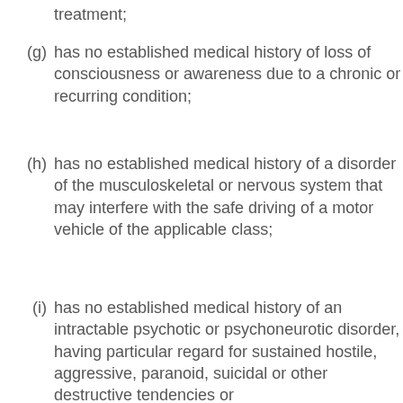treatment;
(g) has no established medical history of loss of consciousness or awareness due to a chronic or recurring condition;
(h) has no established medical history of a disorder of the musculoskeletal or nervous system that may interfere with the safe driving of a motor vehicle of the applicable class;
(i) has no established medical history of an intractable psychotic or psychoneurotic disorder, having particular regard for sustained hostile, aggressive, paranoid, suicidal or other destructive tendencies or